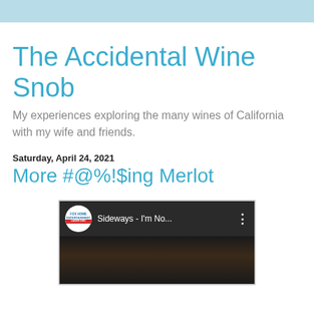The Accidental Wine Snob
My experiences exploring the many wines of California with my wife and friends.
Saturday, April 24, 2021
More #@%!$ing Merlot
[Figure (screenshot): YouTube video thumbnail showing 'Fox Home Entertainment' channel logo and video title 'Sideways - I'm No...' with three-dot menu icon, overlaying a dark video still.]